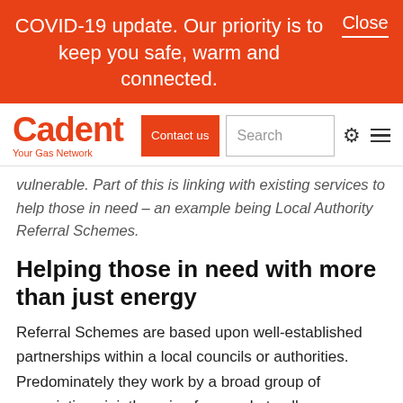COVID-19 update. Our priority is to keep you safe, warm and connected. Close
[Figure (logo): Cadent - Your Gas Network logo with orange wordmark, Contact us button, Search box, gear icon, and hamburger menu]
vulnerable. Part of this is linking with existing services to help those in need – an example being Local Authority Referral Schemes.
Helping those in need with more than just energy
Referral Schemes are based upon well-established partnerships within a local councils or authorities. Predominately they work by a broad group of associations jointly caring for people to allow a more rounded approach and this can be on a safety, healthy